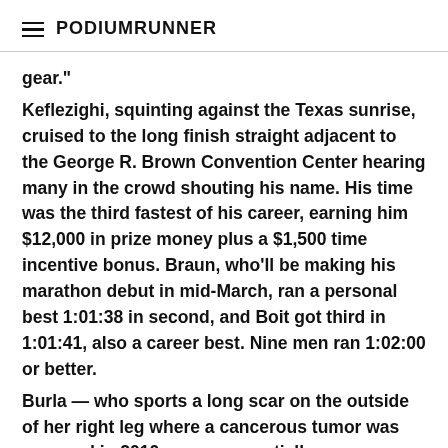PodiumRunner
gear."
Keflezighi, squinting against the Texas sunrise, cruised to the long finish straight adjacent to the George R. Brown Convention Center hearing many in the crowd shouting his name. His time was the third fastest of his career, earning him $12,000 in prize money plus a $1,500 time incentive bonus. Braun, who'll be making his marathon debut in mid-March, ran a personal best 1:01:38 in second, and Boit got third in 1:01:41, also a career best. Nine men ran 1:02:00 or better.
Burla — who sports a long scar on the outside of her right leg where a cancerous tumor was removed in 2010 — was essentially unchallenged today. The 31 year-old mother from Falls Church, Va., broke away just after 5 kilometers and won by nearly a minute and a half.  She had been the runner up at this race twice, in 2010 and